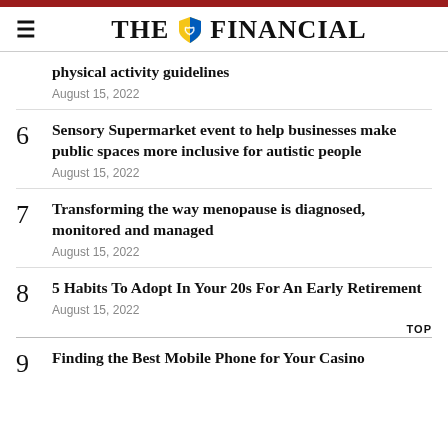THE FINANCIAL
physical activity guidelines
August 15, 2022
6 Sensory Supermarket event to help businesses make public spaces more inclusive for autistic people
August 15, 2022
7 Transforming the way menopause is diagnosed, monitored and managed
August 15, 2022
8 5 Habits To Adopt In Your 20s For An Early Retirement
August 15, 2022
9 Finding the Best Mobile Phone for Your Casino